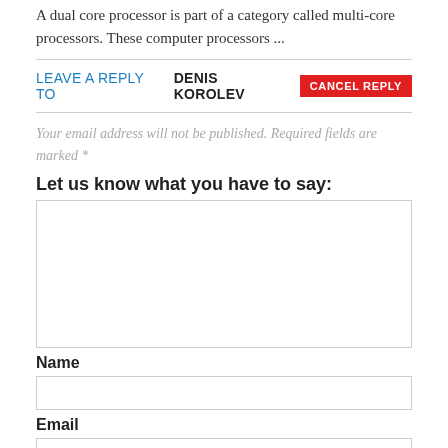A dual core processor is part of a category called multi-core processors. These computer processors ...
LEAVE A REPLY TO DENIS KOROLEV CANCEL REPLY
Your email address will not be published. Required fields are marked *
Let us know what you have to say:
[Figure (other): Large comment textarea input box]
Name
[Figure (other): Name text input field]
Email